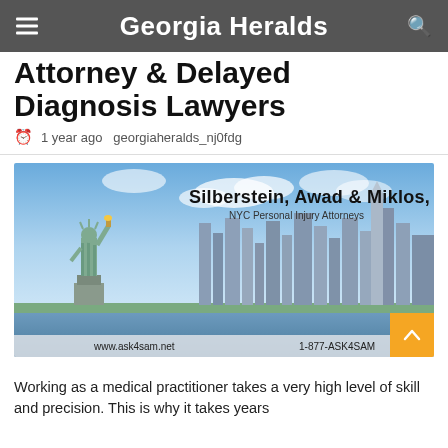Georgia Heralds
Attorney & Delayed Diagnosis Lawyers
1 year ago  georgiaheralds_nj0fdg
[Figure (advertisement): Advertisement image for Silberstein, Awad & Miklos, PC – NYC Personal Injury Attorneys, showing the Statue of Liberty and the New York City skyline. Bottom text: www.ask4sam.net and 1-877-ASK4SAM]
Working as a medical practitioner takes a very high level of skill and precision. This is why it takes years